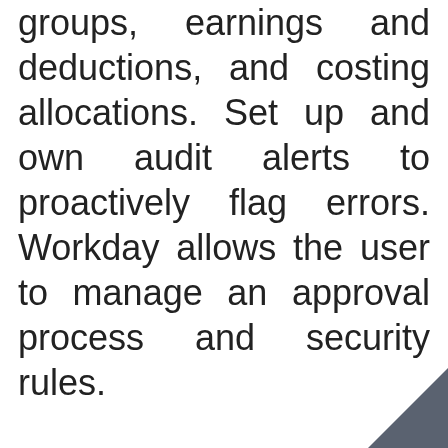groups, earnings and deductions, and costing allocations. Set up and own audit alerts to proactively flag errors. Workday allows the user to manage an approval process and security rules.